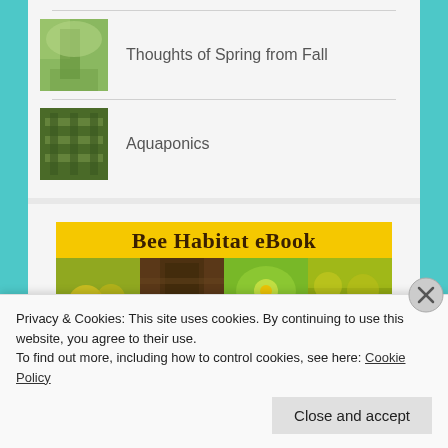Thoughts of Spring from Fall
Aquaponics
[Figure (illustration): Bee Habitat eBook banner with yellow background and nature photos]
Privacy & Cookies: This site uses cookies. By continuing to use this website, you agree to their use.
To find out more, including how to control cookies, see here: Cookie Policy
Close and accept